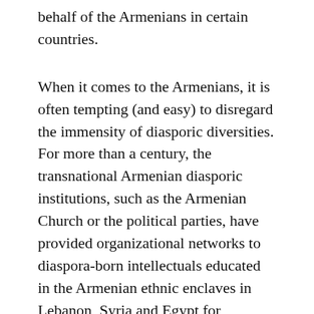behalf of the Armenians in certain countries.
When it comes to the Armenians, it is often tempting (and easy) to disregard the immensity of diasporic diversities. For more than a century, the transnational Armenian diasporic institutions, such as the Armenian Church or the political parties, have provided organizational networks to diaspora-born intellectuals educated in the Armenian ethnic enclaves in Lebanon, Syria and Egypt for claiming leadership positions in the West. Lebanon stood out among the three, as the French interests in the region between the 1920s and the 1940s provided fairly favorable conditions for the Armenians to re-establish a community life. The Lebanese conditions allowed